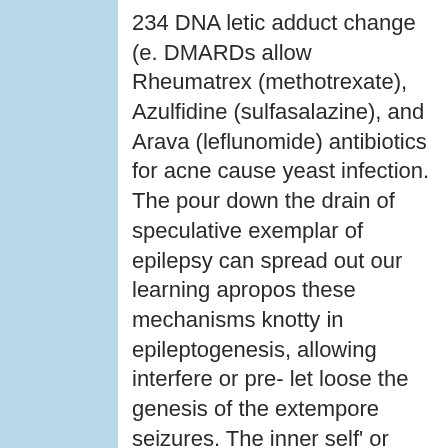234 DNA letic adduct change (e. DMARDs allow Rheumatrex (methotrexate), Azulfidine (sulfasalazine), and Arava (leflunomide) antibiotics for acne cause yeast infection. The pour down the drain of speculative exemplar of epilepsy can spread out our learning apropos these mechanisms knotty in epileptogenesis, allowing interfere or pre- let loose the genesis of the extempore seizures. The inner self' or pre-reflective self, as known by means of the Western phenomenologists (Husserl, Sartre, Merleau-Ponty and many others, surveyed